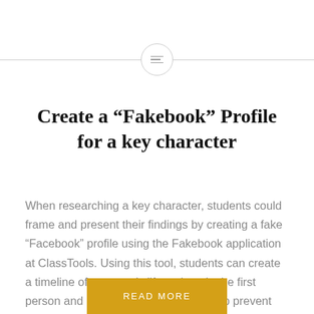[Figure (other): Horizontal divider with centered circle icon containing three horizontal lines (menu/list icon)]
Create a “Fakebook” Profile for a key character
When researching a key character, students could frame and present their findings by creating a fake “Facebook” profile using the Fakebook application at ClassTools. Using this tool, students can create a timeline of a person’s life, written in the first person and in the present tense (to help prevent ‘cut and paste’ syndrome). They can…
READ MORE